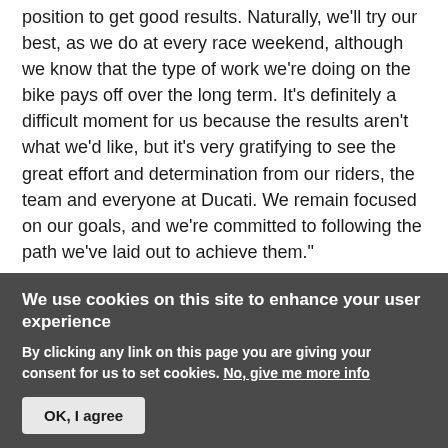position to get good results. Naturally, we'll try our best, as we do at every race weekend, although we know that the type of work we're doing on the bike pays off over the long term. It's definitely a difficult moment for us because the results aren't what we'd like, but it's very gratifying to see the great effort and determination from our riders, the team and everyone at Ducati. We remain focused on our goals, and we're committed to following the path we've laid out to achieve them."
Yamaha Head Back Across the Atlantic to Misano
We use cookies on this site to enhance your user experience
By clicking any link on this page you are giving your consent for us to set cookies. No, give me more info
OK, I agree